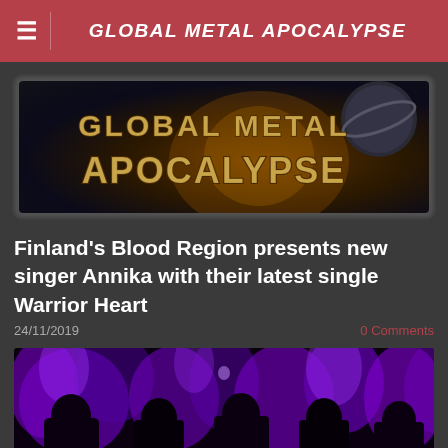GLOBAL METAL APOCALYPSE
[Figure (logo): Global Metal Apocalypse logo banner with stylized metal lettering on dark cosmic background with glowing orange/golden light and a planet]
Finland's Blood Region presents new singer Annika with their latest single Warrior Heart
24/11/2019
0 Comments
[Figure (photo): Band photo with purple/blue flame effects surrounding dark silhouetted figures]